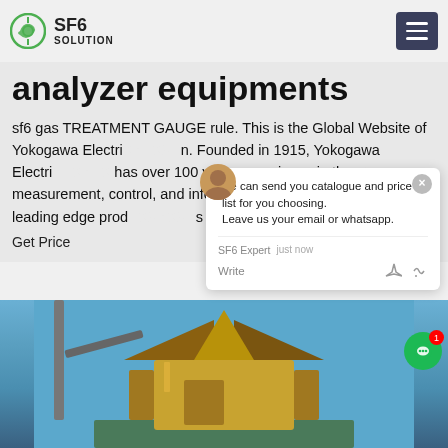SF6 SOLUTION
analyzer equipments
sf6 gas TREATMENT GAUGE rule. This is the Global Website of Yokogawa Electric Corporation. Founded in 1915, Yokogawa Electric Corporation has over 100 years experience in the fields of measurement, control, and information technologies and provides leading edge products and services to industry
Get Price
[Figure (photo): Industrial SF6 gas equipment/analyzer unit photographed against a clear blue sky, showing a gold/yellow colored industrial machine with angular roof-like structure]
[Figure (other): Live chat popup overlay with avatar icon and notification badge. Text reads: 'we can send you catalogue and price list for you choosing. Leave us your email or whatsapp.' with SF6 Expert and 'just now' label and Write input area.]